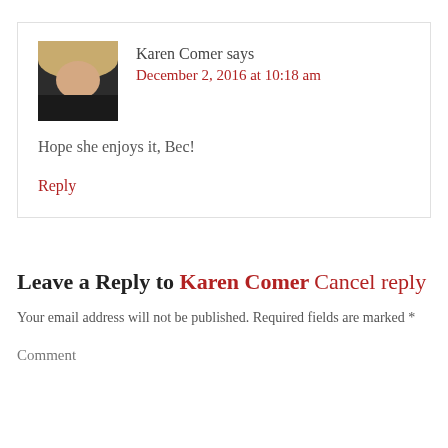Karen Comer says
December 2, 2016 at 10:18 am
[Figure (photo): Avatar photo of Karen Comer, a woman with blonde hair against dark background]
Hope she enjoys it, Bec!
Reply
Leave a Reply to Karen Comer Cancel reply
Your email address will not be published. Required fields are marked *
Comment